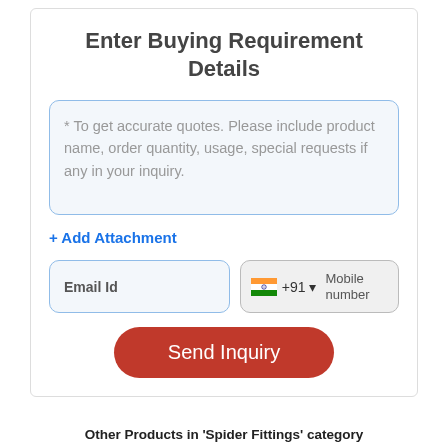Enter Buying Requirement Details
* To get accurate quotes. Please include product name, order quantity, usage, special requests if any in your inquiry.
+ Add Attachment
Email Id
+91 ▾  Mobile number
Send Inquiry
Other Products in 'Spider Fittings' category